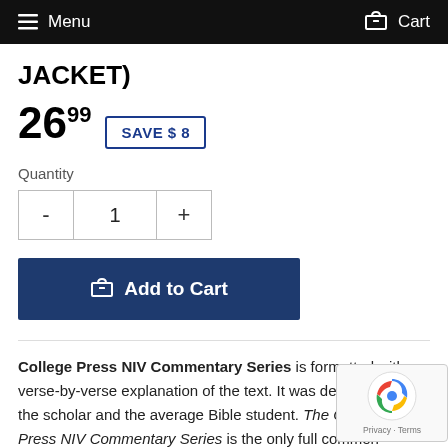Menu   Cart
JACKET)
26.99  SAVE $ 8
Quantity
- 1 +
Add to Cart
College Press NIV Commentary Series is formatted with a verse-by-verse explanation of the text. It was developed both the scholar and the average Bible student. The College Press NIV Commentary Series is the only full commentary...